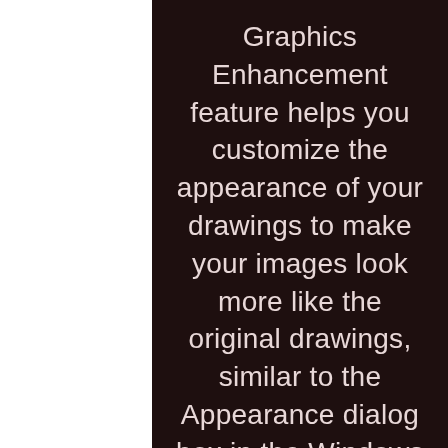Graphics Enhancement feature helps you customize the appearance of your drawings to make your images look more like the original drawings, similar to the Appearance dialog box in the Windows desktop environment.Copy/Paste Individual Shapes:Apply